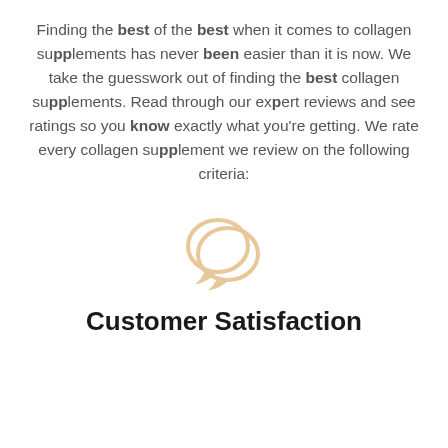Finding the best of the best when it comes to collagen supplements has never been easier than it is now. We take the guesswork out of finding the best collagen supplements. Read through our expert reviews and see ratings so you know exactly what you're getting. We rate every collagen supplement we review on the following criteria:
[Figure (illustration): Two overlapping speech bubble / chat bubble icons in a light tan/beige color, representing customer reviews or comments.]
Customer Satisfaction